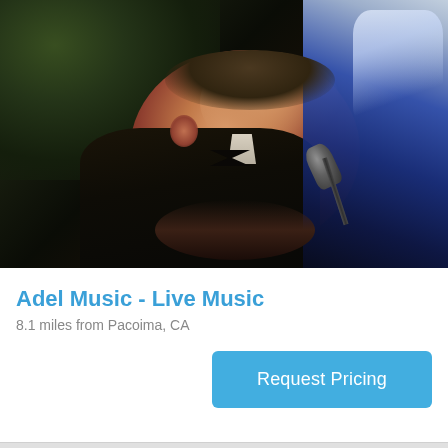[Figure (photo): A man in a dark suit and bow tie singing into a microphone at an outdoor event, with dark greenery in the background and blue fabric visible on the right side.]
Adel Music - Live Music
8.1 miles from Pacoima, CA
Request Pricing